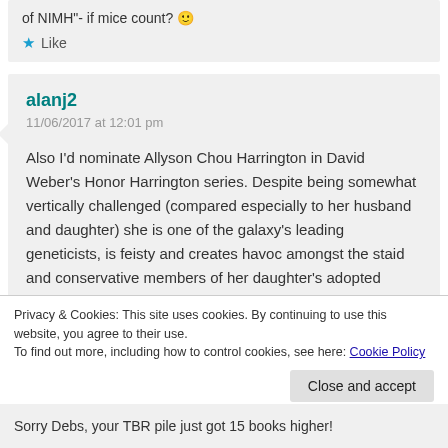of NIMH"- if mice count? 🙂
Like
alanj2
11/06/2017 at 12:01 pm
Also I'd nominate Allyson Chou Harrington in David Weber's Honor Harrington series. Despite being somewhat vertically challenged (compared especially to her husband and daughter) she is one of the galaxy's leading geneticists, is feisty and creates havoc amongst the staid and conservative members of her daughter's adopted home planet
Privacy & Cookies: This site uses cookies. By continuing to use this website, you agree to their use.
To find out more, including how to control cookies, see here: Cookie Policy
Close and accept
Sorry Debs, your TBR pile just got 15 books higher!